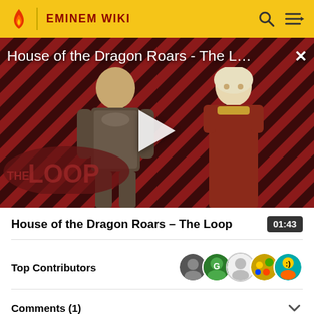EMINEM WIKI
[Figure (screenshot): Video thumbnail for 'House of the Dragon Roars - The Loop' showing two characters from House of the Dragon against a red and black diagonal stripe background with 'THE LOOP' logo and a play button in the center]
House of the Dragon Roars - The Loop
01:43
Top Contributors
Comments (1)